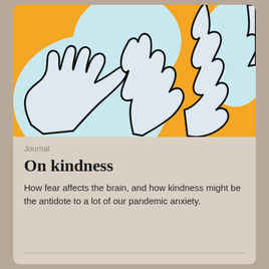[Figure (illustration): Abstract illustration of multiple hands drawn with thick black outlines on an orange and light blue background, depicting overlapping open hands reaching in various directions.]
Journal
On kindness
How fear affects the brain, and how kindness might be the antidote to a lot of our pandemic anxiety.